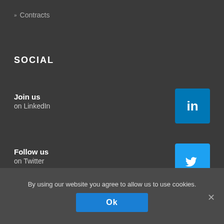» Contracts
SOCIAL
Join us
on LinkedIn
[Figure (logo): LinkedIn logo icon — white 'in' text on blue rounded square]
Follow us
on Twitter
[Figure (logo): Twitter logo icon — white bird on light blue rounded square]
By using our website you agree to allow us to use cookies.
Ok